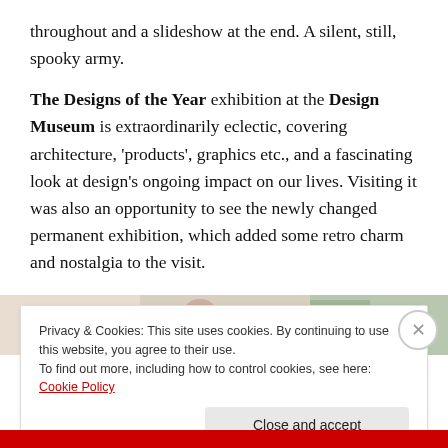throughout and a slideshow at the end. A silent, still, spooky army.
The Designs of the Year exhibition at the Design Museum is extraordinarily eclectic, covering architecture, 'products', graphics etc., and a fascinating look at design's ongoing impact on our lives. Visiting it was also an opportunity to see the newly changed permanent exhibition, which added some retro charm and nostalgia to the visit.
[Figure (photo): Partial image strip showing photographs, partially obscured by cookie banner]
Privacy & Cookies: This site uses cookies. By continuing to use this website, you agree to their use.
To find out more, including how to control cookies, see here: Cookie Policy
Close and accept